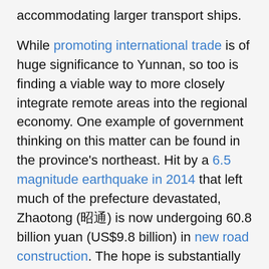accommodating larger transport ships.
While promoting international trade is of huge significance to Yunnan, so too is finding a viable way to more closely integrate remote areas into the regional economy. One example of government thinking on this matter can be found in the province's northeast. Hit by a 6.5 magnitude earthquake in 2014 that left much of the prefecture devastated, Zhaotong (昭通) is now undergoing 60.8 billion yuan (US$9.8 billion) in new road construction. The hope is substantially increased interconnectivity will bolster the region's flagging economy — where most household incomes fall well below China's poverty line.
Building on the work in Zhaotong, the Yunnan government will fund the construction of 90,000 kilometers of new rural roads in the province over the